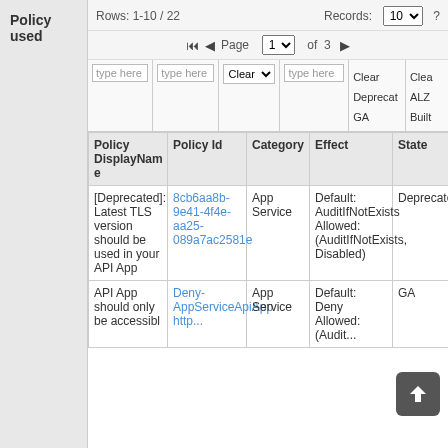Policy used
Rows: 1-10 / 22
Records: 10  ?
Page 1 of 3
| Policy DisplayName | Policy Id | Category | Effect | State | Type |
| --- | --- | --- | --- | --- | --- |
| [Deprecated]: Latest TLS version should be used in your API App | 8cb6aa8b-9e41-4f4e-aa25-089a7ac2581e | App Service | Default: AuditIfNotExists Allowed: (AuditIfNotExists, Disabled) | Deprecated | Builtin |
| API App should only be accessibl... | Deny-AppServiceApiApp http... | App Service | Default: Deny Allowed: (Audit... | GA | ALZ |